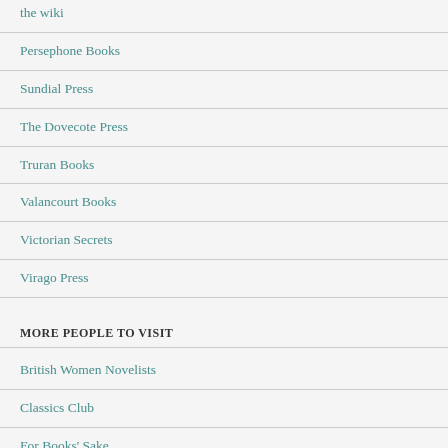the wiki
Persephone Books
Sundial Press
The Dovecote Press
Truran Books
Valancourt Books
Victorian Secrets
Virago Press
MORE PEOPLE TO VISIT
British Women Novelists
Classics Club
For Books' Sake
Reading 1900 – 1950
Shiny New Books
the arsehole